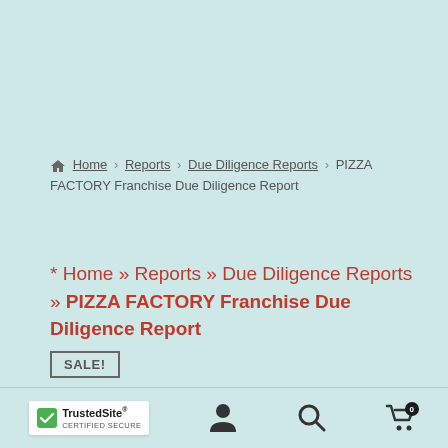Home › Reports › Due Diligence Reports › PIZZA FACTORY Franchise Due Diligence Report
* Home » Reports » Due Diligence Reports » PIZZA FACTORY Franchise Due Diligence Report SALE!
[Figure (photo): Product thumbnail image showing documents/reports with blue and pink accents, with a red zoom/magnify icon in top right corner]